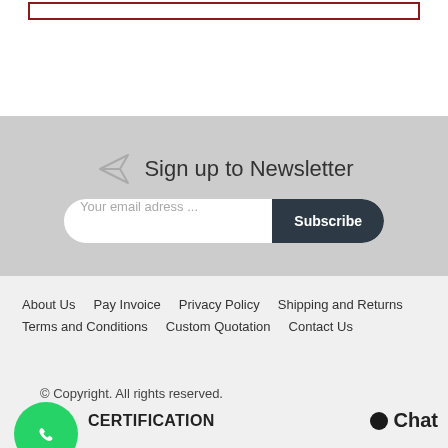[Figure (other): Red bordered rectangle box at top of page]
Sign up to Newsletter
[Figure (other): Email subscription form with text input 'Your email adress ...' and Subscribe button]
About Us   Pay Invoice   Privacy Policy   Shipping and Returns   Terms and Conditions   Custom Quotation   Contact Us
© Copyright. All rights reserved.
CERTIFICATION
Chat
Shop With Confidence